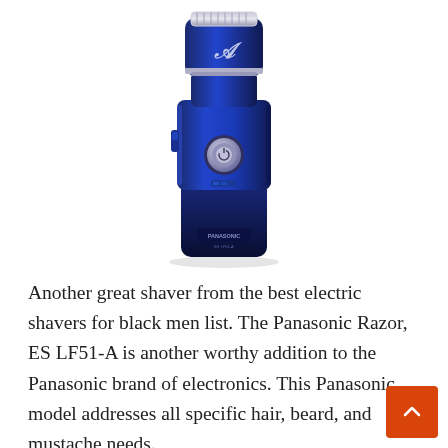[Figure (photo): A blue Panasonic ES LF51-A electric shaver/razor viewed from the front, showing the foil head at the top and a circular power button in the middle, with a dark handle at the bottom.]
Another great shaver from the best electric shavers for black men list. The Panasonic Razor, ES LF51-A is another worthy addition to the Panasonic brand of electronics. This Panasonic model addresses all specific hair, beard, and mustache needs.